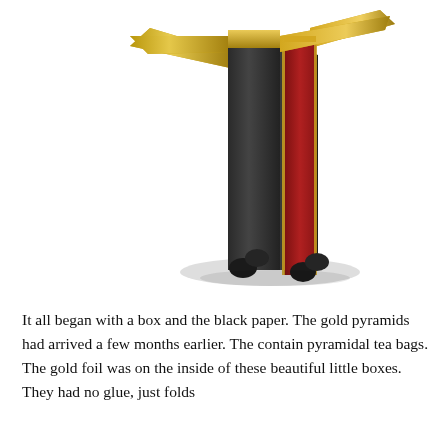[Figure (photo): A sculptural object resembling a tall narrow column or stand with a dark charcoal/black body, a vertical red wood-grain panel with gold glitter trim on the front face, gold metallic cross-shaped flat extensions at the top, and four small black rounded feet at the base. The object is photographed against a white background with a soft shadow.]
It all began with a box and the black paper. The gold pyramids had arrived a few months earlier. The contain pyramidal tea bags. The gold foil was on the inside of these beautiful little boxes. They had no glue, just folds